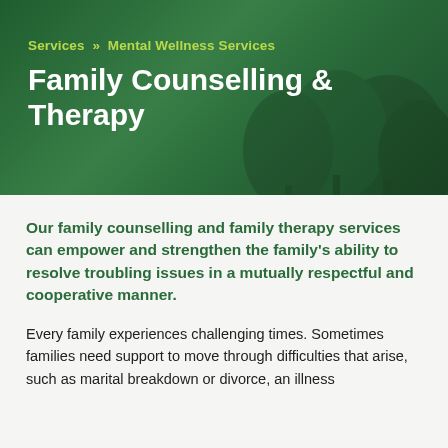[Figure (photo): Green forest/nature background banner with dark green overlay]
Services » Mental Wellness Services
Family Counselling & Therapy
Our family counselling and family therapy services can empower and strengthen the family's ability to resolve troubling issues in a mutually respectful and cooperative manner.
Every family experiences challenging times. Sometimes families need support to move through difficulties that arise, such as marital breakdown or divorce, an illness